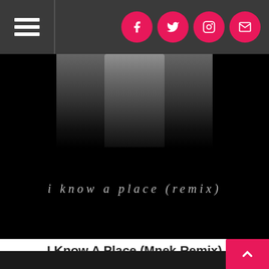Navigation bar with hamburger menu and social icons (Facebook, Twitter, Instagram, Email)
[Figure (photo): Album cover for 'i know a place (remix)' — black background with a partial figure/person visible at top, italic serif text 'i know a place (remix)' centered in the image]
I Know A Place (Mnek Remix)
LABEL: RCA RECORDS LABEL
2017-04-28
MP3 Album: $1.29  DOWNLOAD